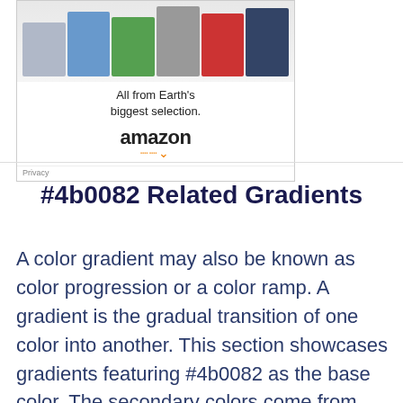[Figure (screenshot): Amazon advertisement showing products and the Amazon logo with 'All from Earth's biggest selection.' tagline and Privacy label]
#4b0082 Related Gradients
A color gradient may also be known as color progression or a color ramp. A gradient is the gradual transition of one color into another. This section showcases gradients featuring #4b0082 as the base color. The secondary colors come from the section above.